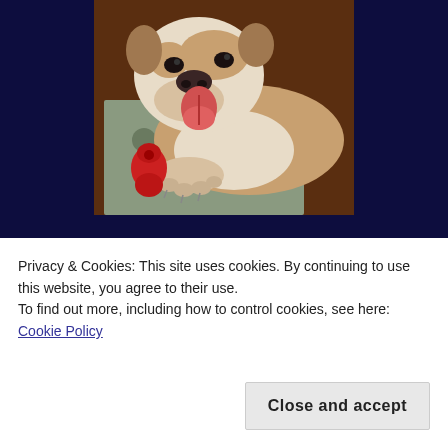[Figure (photo): An English Bulldog lying on a hardwood floor near a rug, with its tongue out, looking at a red Kong toy]
When I say the animals need advocates, I mean
for holistic treatments for pets, I am some haidet,
Privacy & Cookies: This site uses cookies. By continuing to use this website, you agree to their use.
To find out more, including how to control cookies, see here: Cookie Policy